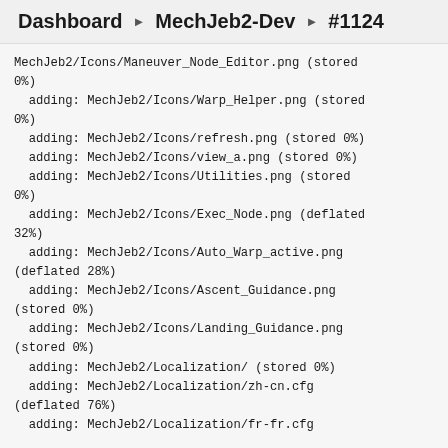Dashboard ▶ MechJeb2-Dev ▶ #1124
MechJeb2/Icons/Maneuver_Node_Editor.png (stored 0%)
  adding: MechJeb2/Icons/Warp_Helper.png (stored 0%)
  adding: MechJeb2/Icons/refresh.png (stored 0%)
  adding: MechJeb2/Icons/view_a.png (stored 0%)
  adding: MechJeb2/Icons/Utilities.png (stored 0%)
  adding: MechJeb2/Icons/Exec_Node.png (deflated 32%)
  adding: MechJeb2/Icons/Auto_Warp_active.png (deflated 28%)
  adding: MechJeb2/Icons/Ascent_Guidance.png (stored 0%)
  adding: MechJeb2/Icons/Landing_Guidance.png (stored 0%)
  adding: MechJeb2/Localization/ (stored 0%)
  adding: MechJeb2/Localization/zh-cn.cfg (deflated 76%)
  adding: MechJeb2/Localization/fr-fr.cfg